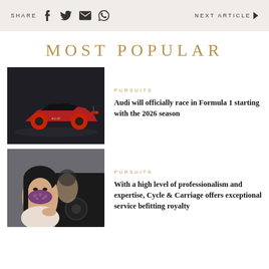SHARE   [facebook] [twitter] [email] [whatsapp]   NEXT ARTICLE ▶
MOST POPULAR
[Figure (photo): Red and black Audi Formula 1 race car model on dark background]
PURSUITS
Audi will officially race in Formula 1 starting with the 2026 season
[Figure (photo): Woman wearing a purple floral face mask sitting in a car showroom]
PURSUITS
With a high level of professionalism and expertise, Cycle & Carriage offers exceptional service befitting royalty